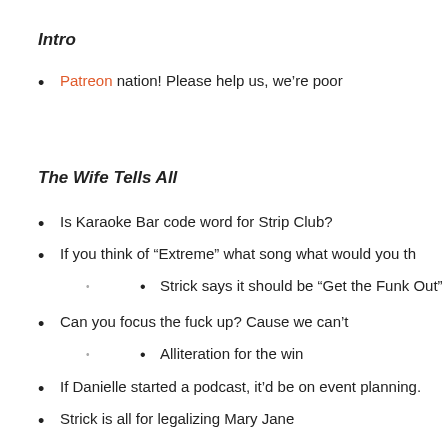Intro
Patreon nation! Please help us, we’re poor
The Wife Tells All
Is Karaoke Bar code word for Strip Club?
If you think of “Extreme” what song what would you th
Strick says it should be “Get the Funk Out”
Can you focus the fuck up? Cause we can’t
Alliteration for the win
If Danielle started a podcast, it’d be on event planning.
Strick is all for legalizing Mary Jane